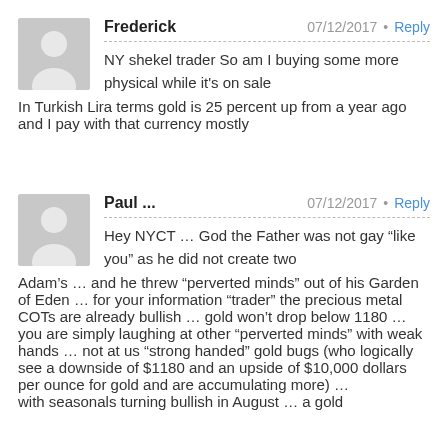Frederick  07/12/2017  Reply
NY shekel trader So am I buying some more physical while it's on sale In Turkish Lira terms gold is 25 percent up from a year ago and I pay with that currency mostly
Paul ...  07/12/2017  Reply
Hey NYCT … God the Father was not gay “like you” as he did not create two Adam’s … and he threw “perverted minds” out of his Garden of Eden … for your information “trader” the precious metal COTs are already bullish … gold won’t drop below 1180 … you are simply laughing at other “perverted minds” with weak hands … not at us “strong handed” gold bugs (who logically see a downside of $1180 and an upside of $10,000 dollars per ounce for gold and are accumulating more) … with seasonals turning bullish in August … a gold